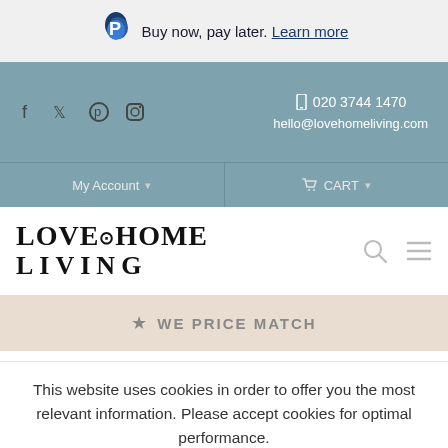Buy now, pay later. Learn more
020 3744 1470
hello@lovehomeliving.com
My Account  CART
[Figure (logo): Love Home Living logo with serif text]
WE PRICE MATCH
This website uses cookies in order to offer you the most relevant information. Please accept cookies for optimal performance.